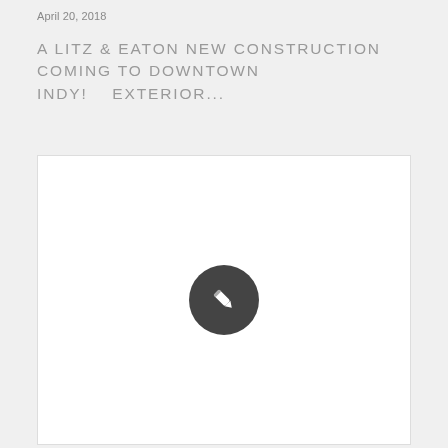April 20, 2018
A LITZ & EATON NEW CONSTRUCTION COMING TO DOWNTOWN INDY!    EXTERIOR...
[Figure (illustration): White rectangular placeholder image with a dark circular pencil/edit icon centered within it]